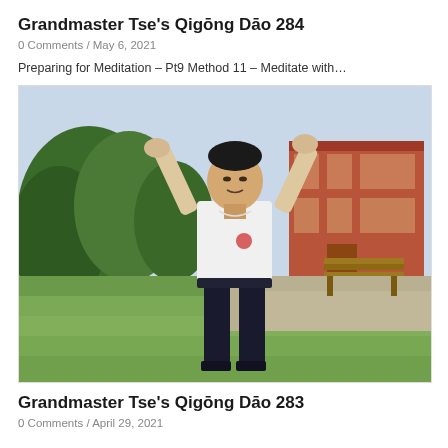Grandmaster Tse’s Qigōng Dāo 284
0 Comments / May 6, 2021
Preparing for Meditation – Pt9 Method 11 – Meditate with…
[Figure (photo): Man in white t-shirt and black trousers performing a qigong pose with both arms raised, standing on grass in front of a red brick building and trees.]
Grandmaster Tse’s Qigōng Dāo 283
0 Comments / April 29, 2021